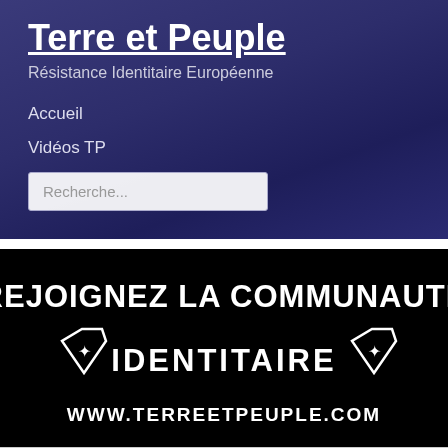Terre et Peuple
Résistance Identitaire Européenne
Accueil
Vidéos TP
Recherche...
[Figure (illustration): Black banner with white bold text: REJOIGNEZ LA COMMUNAUTÉ IDENTITAIRE with two shield logos featuring star/edelweiss symbols, and www.terreetpeuple.com below]